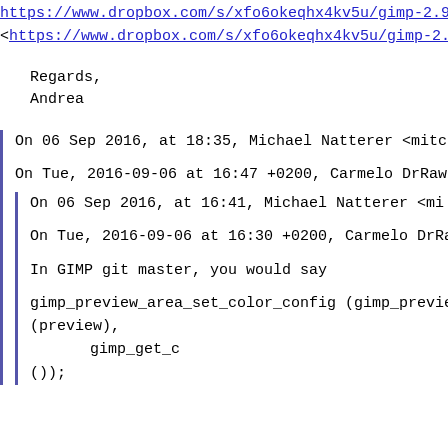https://www.dropbox.com/s/xfo6okeqhx4kv5u/gimp-2.9.
<https://www.dropbox.com/s/xfo6okeqhx4kv5u/gimp-2.9.
Regards,
Andrea
On 06 Sep 2016, at 18:35, Michael Natterer <mitch
On Tue, 2016-09-06 at 16:47 +0200, Carmelo DrRaw w
On 06 Sep 2016, at 16:41, Michael Natterer <mi
On Tue, 2016-09-06 at 16:30 +0200, Carmelo DrRa
In GIMP git master, you would say
gimp_preview_area_set_color_config (gimp_previe
(preview),
                                    gimp_get_c
());